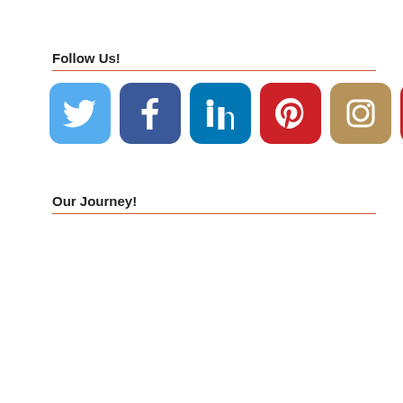Follow Us!
[Figure (infographic): Six social media icons in rounded square buttons: Twitter (light blue), Facebook (dark blue), LinkedIn (dark teal-blue), Pinterest (red), Instagram (tan/brown), YouTube (red)]
Our Journey!